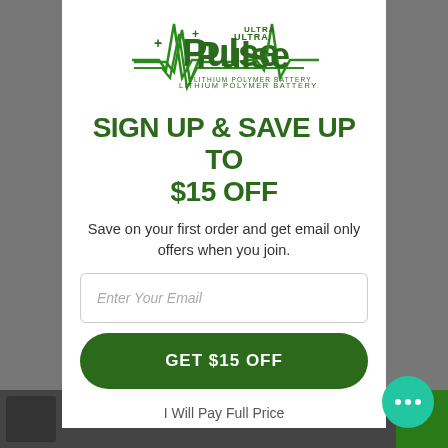[Figure (logo): Pulse Ultra Lithium Polymer Battery logo with green heartbeat/EKG line graphic]
SIGN UP & SAVE UP TO $15 OFF
Save on your first order and get email only offers when you join.
Enter Your Email
GET $15 OFF
I Will Pay Full Price